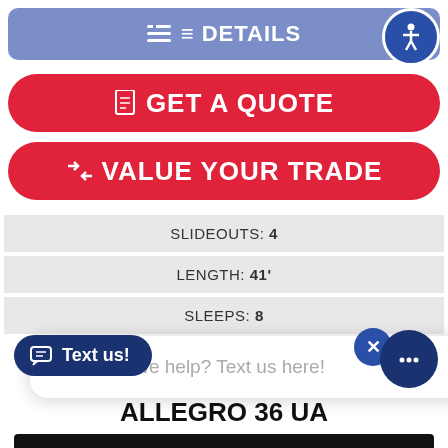≡ DETAILS
📄 GET A QUOTE
⇄ VALUE YOUR TRADE
SLIDEOUTS: 4
LENGTH: 41'
SLEEPS: 8
How can we help? Text us here!
Text us!
RIFFIN MOTORHOMES
ALLEGRO 36 UA